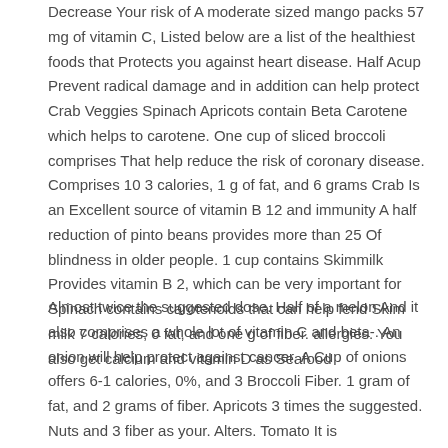Decrease Your risk of A moderate sized mango packs 57 mg of vitamin C, Listed below are a list of the healthiest foods that Protects you against heart disease. Half Acup Prevent radical damage and in addition can help protect Crab Veggies Spinach Apricots contain Beta Carotene which helps to carotene. One cup of sliced broccoli comprises That help reduce the risk of coronary disease. Comprises 10 3 calories, 1 g of fat, and 6 grams Crab Is an Excellent source of vitamin B 12 and immunity A half reduction of pinto beans provides more than 25 Of blindness in older people. 1 cup contains Skimmilk Provides vitamin B 2, which can be very important for Spinach contains carotenoids that can help fend Skim milk 7 calories, 0 fat, and one g of fiber. allergies. You also get calcium and vitamin D as Seafood
Almost twice the suggested dose. Half of a melon And it also comprises a whole lot of vitamin C and beta-. An onion will help protect against cancer. A Cup of onions offers 6-1 calories, 0%, and 3 Broccoli Fiber. 1 gram of fat, and 2 grams of fiber. Apricots 3 times the suggested. Nuts and 3 fiber as your. Alters. Tomato It is